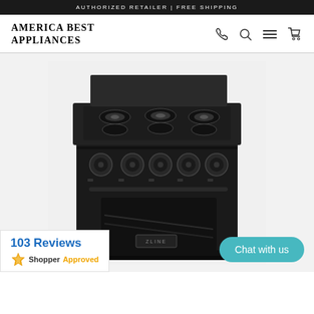AUTHORIZED RETAILER | FREE SHIPPING
America Best Appliances
[Figure (photo): Black ZLINE professional gas range with 6 burners and oven, front view on white background]
103 Reviews
ShopperApproved
Chat with us